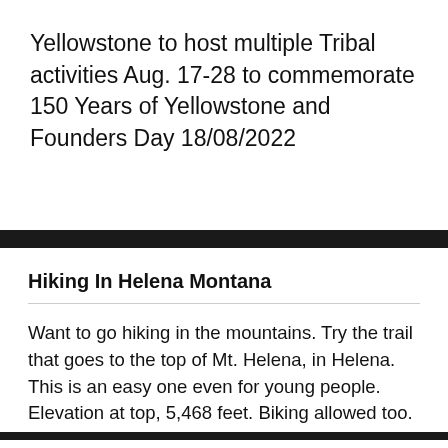Yellowstone to host multiple Tribal activities Aug. 17-28 to commemorate 150 Years of Yellowstone and Founders Day 18/08/2022
Hiking In Helena Montana
Want to go hiking in the mountains. Try the trail that goes to the top of Mt. Helena, in Helena. This is an easy one even for young people. Elevation at top, 5,468 feet. Biking allowed too. The view of the mountains to the south and west from the top is awesome.